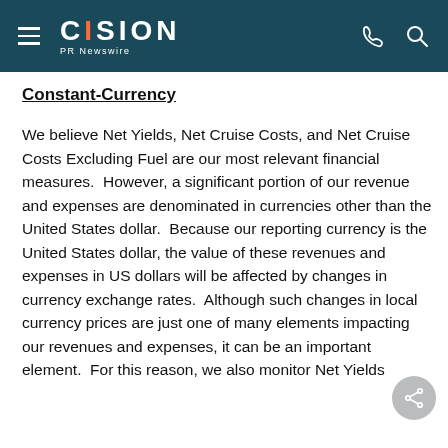CISION PR Newswire
Constant-Currency
We believe Net Yields, Net Cruise Costs, and Net Cruise Costs Excluding Fuel are our most relevant financial measures.  However, a significant portion of our revenue and expenses are denominated in currencies other than the United States dollar.  Because our reporting currency is the United States dollar, the value of these revenues and expenses in US dollars will be affected by changes in currency exchange rates.  Although such changes in local currency prices are just one of many elements impacting our revenues and expenses, it can be an important element.  For this reason, we also monitor Net Yields